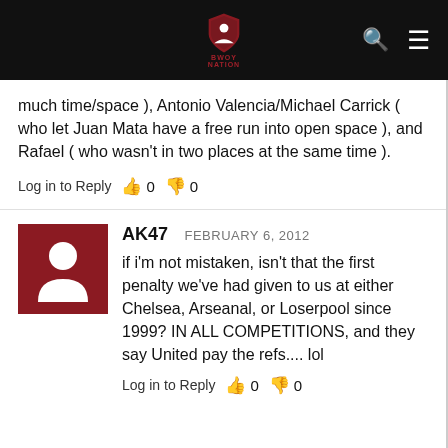[Figure (logo): Dark navigation bar with a red shield logo and white person silhouette icon, search icon and hamburger menu icon on the right]
much time/space ), Antonio Valencia/Michael Carrick ( who let Juan Mata have a free run into open space ), and Rafael ( who wasn't in two places at the same time ).
Log in to Reply  👍 0  👎 0
AK47  FEBRUARY 6, 2012
if i'm not mistaken, isn't that the first penalty we've had given to us at either Chelsea, Arseanal, or Loserpool since 1999? IN ALL COMPETITIONS, and they say United pay the refs.... lol
Log in to Reply  👍 0  👎 0